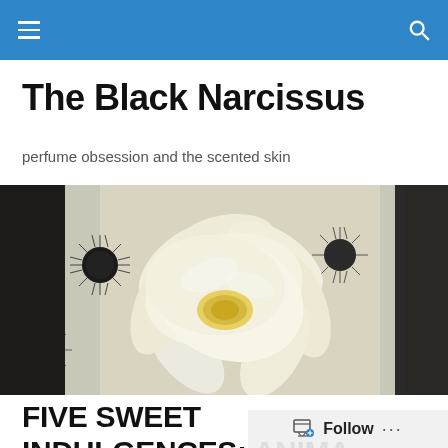The Black Narcissus navigation bar
The Black Narcissus
perfume obsession and the scented skin
[Figure (photo): Close-up photograph of a white/cream narcissus flower with yellow center, against a dark background with decorative starburst/sunburst patterns]
FIVE SWEET INDULGENCES: ANIMA DULCIS by ARQUISTE (2013) + L'HISTOIRE